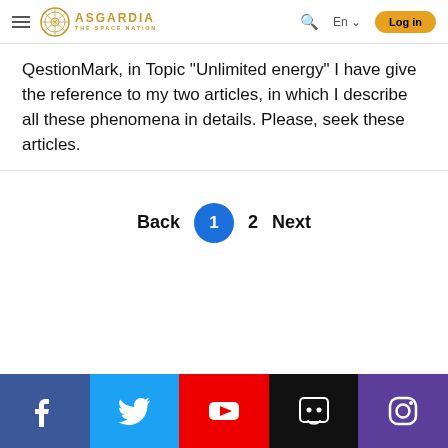ASGARDIA THE SPACE NATION — Log in
QestionMark, in Topic "Unlimited energy" I have give the reference to my two articles, in which I describe all these phenomena in details. Please, seek these articles.
[Figure (infographic): Pagination controls: Back | 1 (active, blue circle) | 2 | Next]
[Figure (infographic): Social media footer bar with icons: Facebook (blue), Twitter (light blue), YouTube (red), Discord (black), Instagram (purple)]